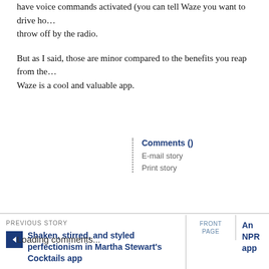have voice commands activated (you can tell Waze you want to drive ho... throw off by the radio.
But as I said, those are minor compared to the benefits you reap from the... Waze is a cool and valuable app.
Comments ()
E-mail story
Print story
PREVIOUS STORY
Shaken, stirred, and styled perfectionism in Martha Stewart's Cocktails app
FRONT PAGE
An NPR app
Loading comments...